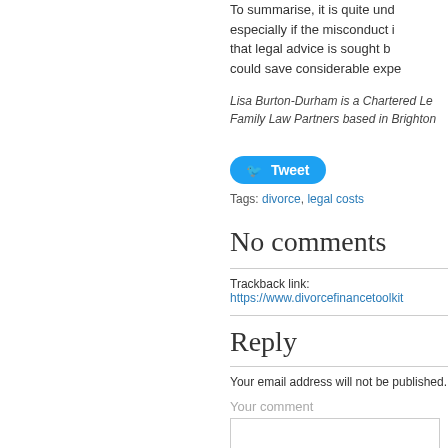To summarise, it is quite und... especially if the misconduct i... that legal advice is sought b... could save considerable expe...
Lisa Burton-Durham is a Chartered Le... Family Law Partners based in Brighton...
[Figure (other): Twitter Tweet button]
Tags: divorce, legal costs
No comments
Trackback link: https://www.divorcefinancetoolkit...
Reply
Your email address will not be published.
Your comment